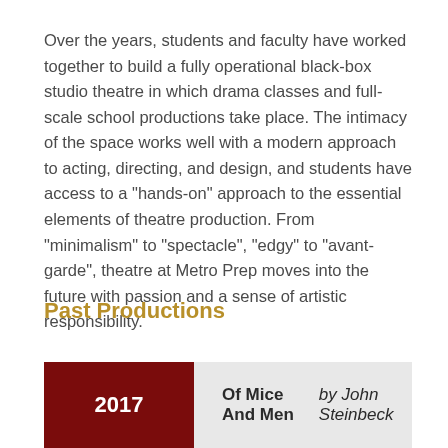Over the years, students and faculty have worked together to build a fully operational black-box studio theatre in which drama classes and full-scale school productions take place. The intimacy of the space works well with a modern approach to acting, directing, and design, and students have access to a "hands-on" approach to the essential elements of theatre production. From "minimalism" to "spectacle", "edgy" to "avant-garde", theatre at Metro Prep moves into the future with passion and a sense of artistic responsibility.
Past Productions
| Year | Production |
| --- | --- |
| 2017 | Of Mice And Men by John Steinbeck |